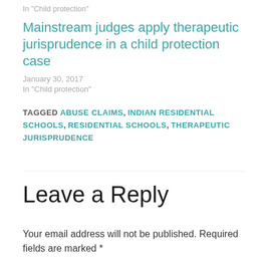In "Child protection"
Mainstream judges apply therapeutic jurisprudence in a child protection case
January 30, 2017
In "Child protection"
TAGGED ABUSE CLAIMS, INDIAN RESIDENTIAL SCHOOLS, RESIDENTIAL SCHOOLS, THERAPEUTIC JURISPRUDENCE
Leave a Reply
Your email address will not be published. Required fields are marked *